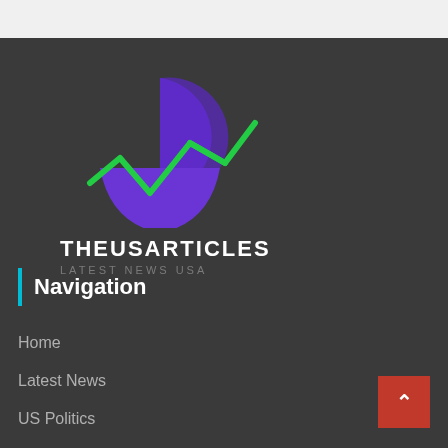[Figure (logo): TheUSArticles logo: purple crescent/shield shape with green zigzag/checkmark line overlay]
THEUSARTICLES
LATEST NEWS USA
Navigation
Home
Latest News
US Politics